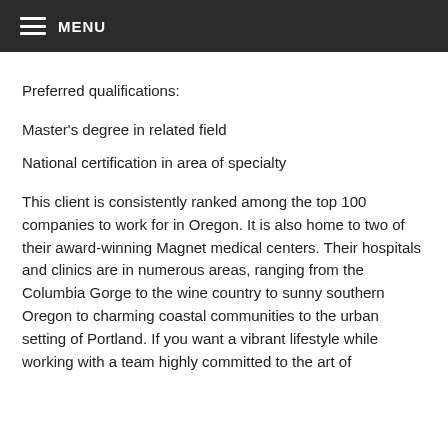MENU
Preferred qualifications:
Master's degree in related field
National certification in area of specialty
This client is consistently ranked among the top 100 companies to work for in Oregon. It is also home to two of their award-winning Magnet medical centers. Their hospitals and clinics are in numerous areas, ranging from the Columbia Gorge to the wine country to sunny southern Oregon to charming coastal communities to the urban setting of Portland. If you want a vibrant lifestyle while working with a team highly committed to the art of